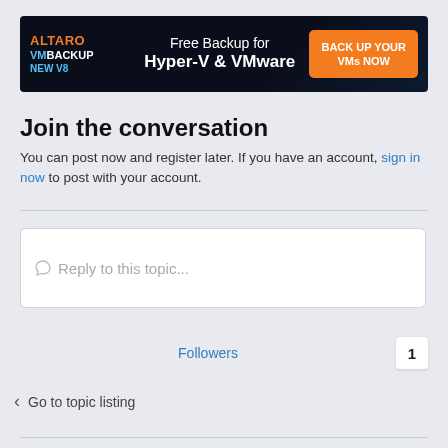[Figure (illustration): Altaro VM Backup advertisement banner. Dark navy background with network pattern. Left: 'ALTARO' in orange, 'VM BACKUP' in blue/white, 'NEW V8' in blue. Center: 'Free Backup for' in white, 'Hyper-V & VMware' in bold white. Right: orange button 'BACK UP YOUR VMs NOW'.]
Join the conversation
You can post now and register later. If you have an account, sign in now to post with your account.
Reply to this topic...
Followers
1
Go to topic listing